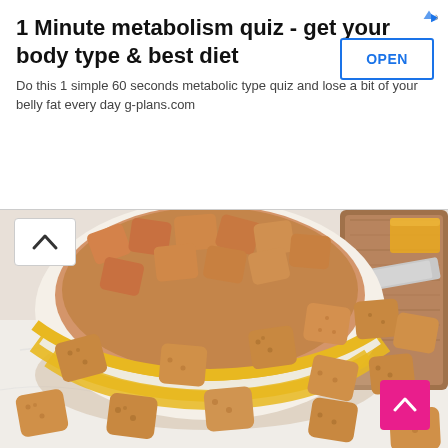1 Minute metabolism quiz - get your body type & best diet
Do this 1 simple 60 seconds metabolic type quiz and lose a bit of your belly fat every day g-plans.com
[Figure (photo): A yellow and white striped ceramic bowl filled with golden cheese crackers, with more crackers scattered on a white marble surface. A wooden cutting board and a knife are visible in the background along with a piece of yellow cheese.]